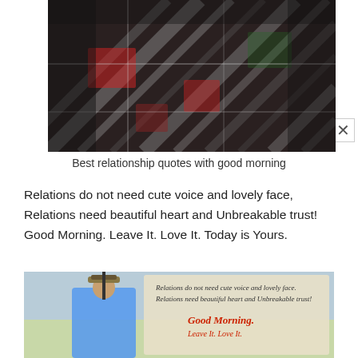[Figure (photo): Close-up photo of a dark plaid/tartan fabric with red, white, and black pattern against a dark background]
Best relationship quotes with good morning
Relations do not need cute voice and lovely face, Relations need beautiful heart and Unbreakable trust! Good Morning. Leave It. Love It. Today is Yours.
[Figure (photo): Photo of a person in a blue shirt and hat holding something, with overlaid text reading: Relations do not need cute voice and lovely face, Relations need beautiful heart and Unbreakable trust! Good Morning. Leave It. Love It.]